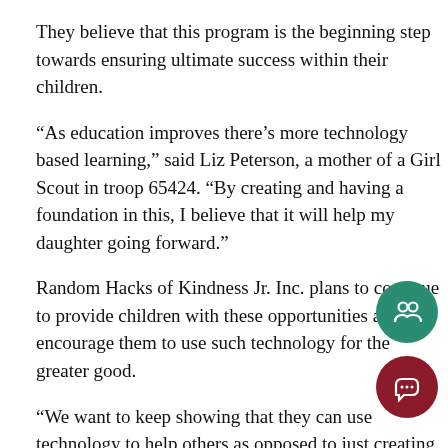They believe that this program is the beginning step towards ensuring ultimate success within their children.
“As education improves there’s more technology based learning,” said Liz Peterson, a mother of a Girl Scout in troop 65424. “By creating and having a foundation in this, I believe that it will help my daughter going forward.”
Random Hacks of Kindness Jr. Inc. plans to continue to provide children with these opportunities and encourage them to use such technology for the greater good.
“We want to keep showing that they can use technology to help others as opposed to just creating the best selling app,” Gans said.
dontmiss
Hackathon
homeslide
news
philanthropy